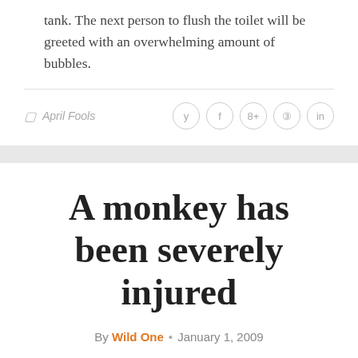tank. The next person to flush the toilet will be greeted with an overwhelming amount of bubbles.
April Fools
A monkey has been severely injured
By Wild One · January 1, 2009